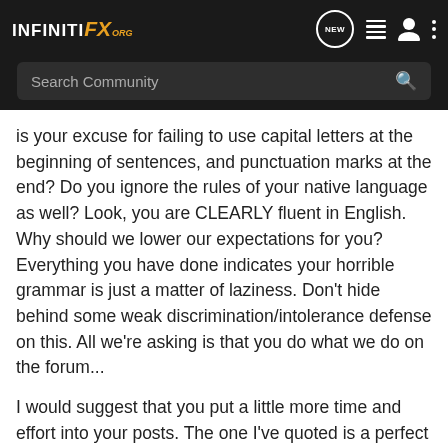[Figure (screenshot): InfinitiFX.org forum website navigation bar with logo, search bar, and icons]
is your excuse for failing to use capital letters at the beginning of sentences, and punctuation marks at the end? Do you ignore the rules of your native language as well? Look, you are CLEARLY fluent in English. Why should we lower our expectations for you? Everything you have done indicates your horrible grammar is just a matter of laziness. Don't hide behind some weak discrimination/intolerance defense on this. All we're asking is that you do what we do on the forum...
I would suggest that you put a little more time and effort into your posts. The one I've quoted is a perfect example. Keep it at that level and nobody will complain.
-Andy